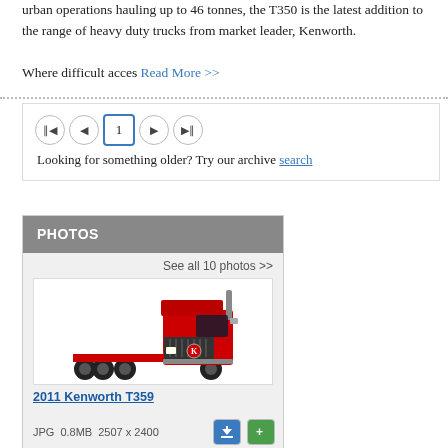urban operations hauling up to 46 tonnes, the T350 is the latest addition to the range of heavy duty trucks from market leader, Kenworth.
Where difficult acces Read More >>
[Figure (screenshot): Pagination control showing navigation buttons (first, previous, page 1, next, last) and text: Looking for something older? Try our archive search]
PHOTOS
See all 10 photos >>
[Figure (photo): Red Kenworth heavy duty truck (cab/tractor unit) on white background]
2011 Kenworth T359
JPG   0.8MB   2507 x 2400